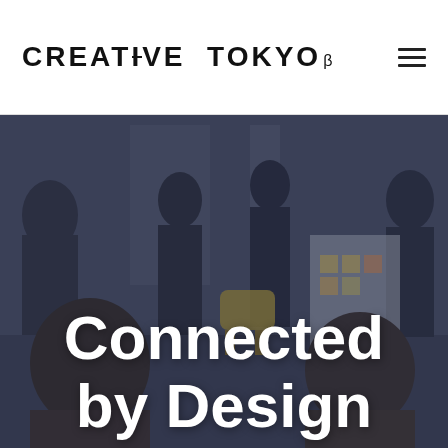CREATIVE TOKYO β
[Figure (photo): Dark-tinted photograph of people in a creative office/workshop space, seen from behind. Several people standing and seated, with a yellow chair and sticky notes on a white board visible in the background.]
Connected by Design